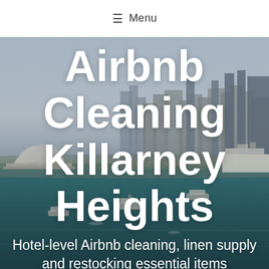≡ Menu
Airbnb Cleaning Killarney Heights
[Figure (photo): Aerial view of Sydney harbour with the Opera House on the left, city skyline in the background, and ferry boats on the water]
Hotel-level Airbnb cleaning, linen supply and restocking essential items